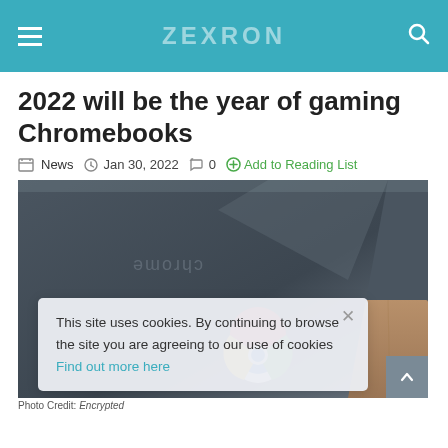ZEXRON
2022 will be the year of gaming Chromebooks
News  Jan 30, 2022  0  + Add to Reading List
[Figure (photo): Close-up photo of a dark grey Chromebook lid with the Chrome logo visible and 'chrome' text, photographed from above against a wooden surface. A cookie consent banner overlays the lower portion of the image.]
This site uses cookies. By continuing to browse the site you are agreeing to our use of cookies Find out more here